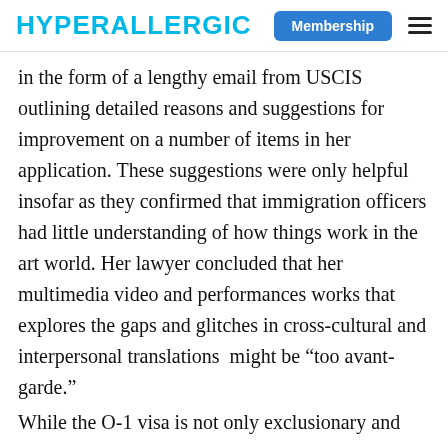HYPERALLERGIC  Membership ☰
in the form of a lengthy email from USCIS outlining detailed reasons and suggestions for improvement on a number of items in her application. These suggestions were only helpful insofar as they confirmed that immigration officers had little understanding of how things work in the art world. Her lawyer concluded that her multimedia video and performances works that explores the gaps and glitches in cross-cultural and interpersonal translations  might be “too avant-garde.”
While the O-1 visa is not only exclusionary and